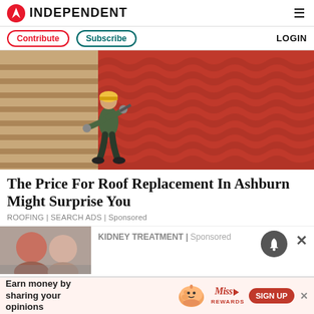INDEPENDENT
Contribute | Subscribe | LOGIN
[Figure (photo): Construction worker in green overalls and yellow helmet installing red clay roof tiles on a rooftop structure with wooden battens visible]
The Price For Roof Replacement In Ashburn Might Surprise You
ROOFING | SEARCH ADS | Sponsored
[Figure (photo): Two women visible in lower left thumbnail image, partially obscured]
KIDNEY TREATMENT | Sponsored
Earn money by sharing your opinions
Miss Rewards SIGN UP